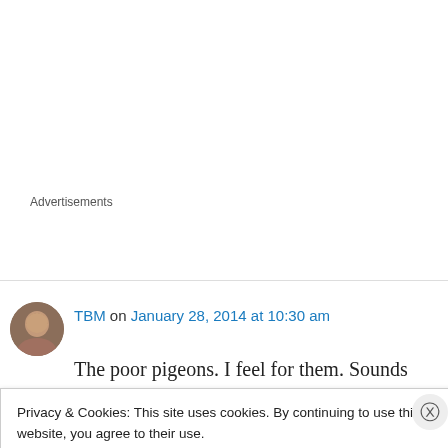Advertisements
[Figure (photo): Circular avatar photo of a woman with dark hair, brown tones]
TBM on January 28, 2014 at 10:30 am
The poor pigeons. I feel for them. Sounds like a miserable winter for all. Can you slip Listerine into the wine bottle or will that be a deadly drink? And interesting that you're having this problem
Privacy & Cookies: This site uses cookies. By continuing to use this website, you agree to their use.
To find out more, including how to control cookies, see here: Cookie Policy
Close and accept